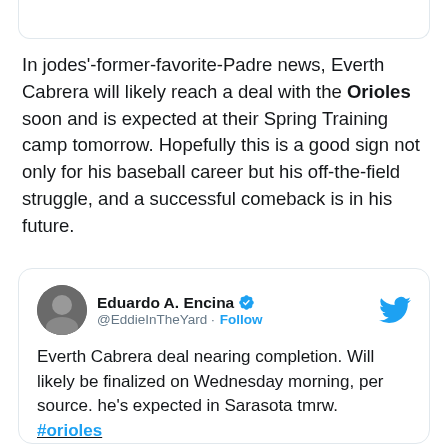[Figure (screenshot): Top portion of a tweet card (partially visible at top of page)]
In jodes'-former-favorite-Padre news, Everth Cabrera will likely reach a deal with the Orioles soon and is expected at their Spring Training camp tomorrow. Hopefully this is a good sign not only for his baseball career but his off-the-field struggle, and a successful comeback is in his future.
[Figure (screenshot): Embedded tweet from Eduardo A. Encina (@EddieInTheYard) with blue verified check and Follow button. Tweet text: 'Everth Cabrera deal nearing completion. Will likely be finalized on Wednesday morning, per source. he's expected in Sarasota tmrw. #orioles'. Timestamp: 1:42 AM · Feb 24, 2015.]